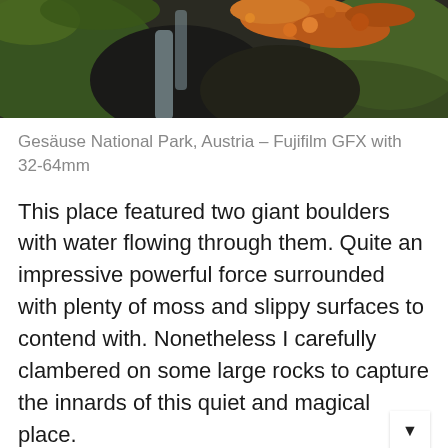[Figure (photo): Partial view of a nature photograph showing mossy rocks, autumn leaves (orange/red), dark rocks, and flowing water in Gesäuse National Park, Austria.]
Gesäuse National Park, Austria – Fujifilm GFX with 32-64mm
This place featured two giant boulders with water flowing through them. Quite an impressive powerful force surrounded with plenty of moss and slippy surfaces to contend with. Nonetheless I carefully clambered on some large rocks to capture the innards of this quiet and magical place.
Newsletter - New Images / Offers / Exhibitions
Your email address..
Subscribe